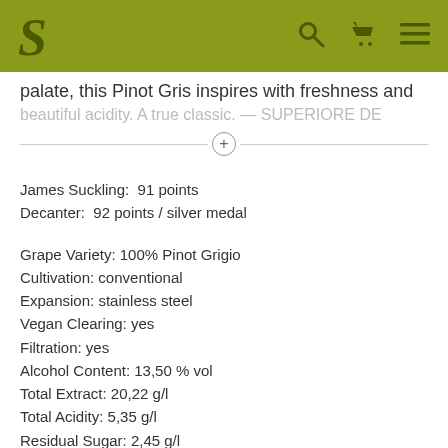S [logo] [search icon] [cart icon] [menu icon]
palate, this Pinot Gris inspires with freshness and beautiful acidity. A true classic. — SUPERIORE DE
James Suckling:  91 points
Decanter:  92 points / silver medal
Grape Variety: 100% Pinot Grigio
Cultivation: conventional
Expansion: stainless steel
Vegan Clearing: yes
Filtration: yes
Alcohol Content: 13,50 % vol
Total Extract: 20,22 g/l
Total Acidity: 5,35 g/l
Residual Sugar: 2,45 g/l
Sulfite: 106 mg/l